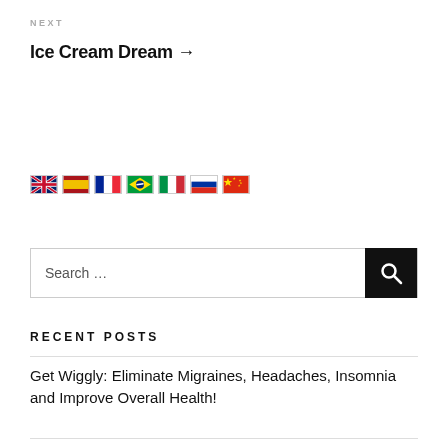NEXT
Ice Cream Dream →
[Figure (illustration): A row of seven country flag icons: UK, Spain, France, Brazil, Italy, Russia, China]
Search …
RECENT POSTS
Get Wiggly: Eliminate Migraines, Headaches, Insomnia and Improve Overall Health!